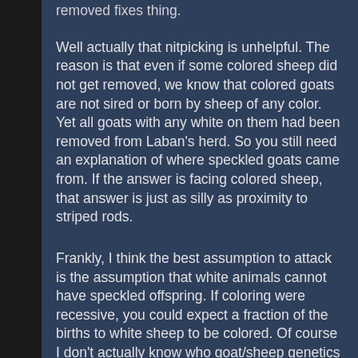removed fixes thing.
Well actually that nitpicking is unhelpful. The reason is that even if some colored sheep did not get removed, we know that colored goats are not sired or born by sheep of any color. Yet all goats with any white on them had been removed from Laban's herd. So you still need an explanation of where speckled goats came from. If the answer is facing colored sheep, that answer is just as silly as proximity to striped rods.
Frankly, I think the best assumption to attack is the assumption that white animals cannot have speckled offspring. If coloring were recessive, you could expect a fraction of the births to white sheep to be colored. Of course I don't actually know who goat/sheep genetics works...
Edited by NoNukes, 09-19-2013 11:43 AM: No reason given.
Under a government which imprisons any unjustly, the true place for a just man is also...